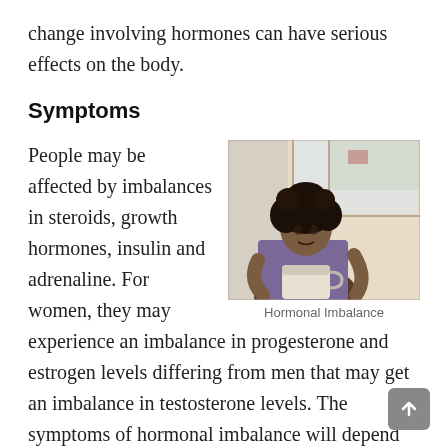change involving hormones can have serious effects on the body.
Symptoms
People may be affected by imbalances in steroids, growth hormones, insulin and adrenaline. For women, they may experience an imbalance in progesterone and estrogen levels differing from men that may get an imbalance in testosterone levels. The symptoms of hormonal imbalance will depend on which hormones or glands aren't functioning properly.
[Figure (photo): A woman with curly hair sitting by a window holding a cup, looking thoughtful. Image related to hormonal imbalance.]
Hormonal Imbalance